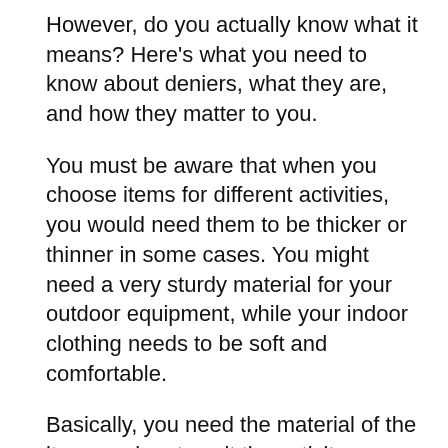However, do you actually know what it means? Here's what you need to know about deniers, what they are, and how they matter to you.
You must be aware that when you choose items for different activities, you would need them to be thicker or thinner in some cases. You might need a very sturdy material for your outdoor equipment, while your indoor clothing needs to be soft and comfortable.
Basically, you need the material of the item you buy to suit the activity you are using it for and the environment it's being used in. If not, then it's a waste of money. This is where a denier rating comes into the picture.